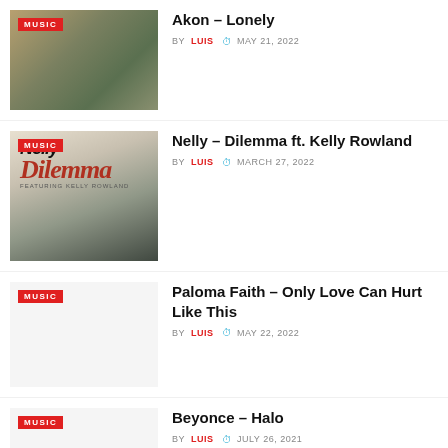[Figure (photo): Akon album cover photo with MUSIC badge]
Akon – Lonely
BY LUIS  MAY 21, 2022
[Figure (photo): Nelly Dilemma album cover with MUSIC badge]
Nelly – Dilemma ft. Kelly Rowland
BY LUIS  MARCH 27, 2022
[Figure (photo): Paloma Faith placeholder image with MUSIC badge]
Paloma Faith – Only Love Can Hurt Like This
BY LUIS  MAY 22, 2022
[Figure (photo): Beyonce placeholder image with MUSIC badge]
Beyonce – Halo
BY LUIS  JULY 26, 2021